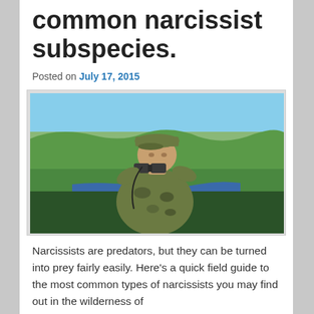common narcissist subspecies.
Posted on July 17, 2015
[Figure (photo): A person in camouflage clothing and cap looking through binoculars, standing outdoors with a scenic valley, river, and hills in the background under a blue sky.]
Narcissists are predators, but they can be turned into prey fairly easily. Here's a quick field guide to the most common types of narcissists you may find out in the wilderness of